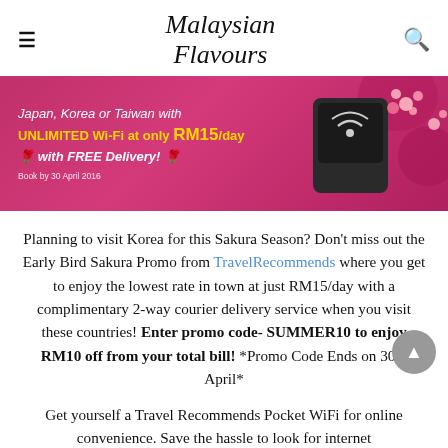Malaysian Flavours
[Figure (photo): Promotional banner for TravelRecommends: pink/magenta background with text 'Japan, Korea or Taiwan with UNLIMITED Wi-Fi at only RM15/day with FREE Delivery! Book by 30 April 2016', alongside an image of a pocket WiFi device and pink cherry blossoms.]
Planning to visit Korea for this Sakura Season? Don't miss out the Early Bird Sakura Promo from TravelRecommends where you get to enjoy the lowest rate in town at just RM15/day with a complimentary 2-way courier delivery service when you visit these countries! Enter promo code- SUMMER10 to enjoy RM10 off from your total bill! *Promo Code Ends on 30th April*
Get yourself a Travel Recommends Pocket WiFi for online convenience. Save the hassle to look for internet